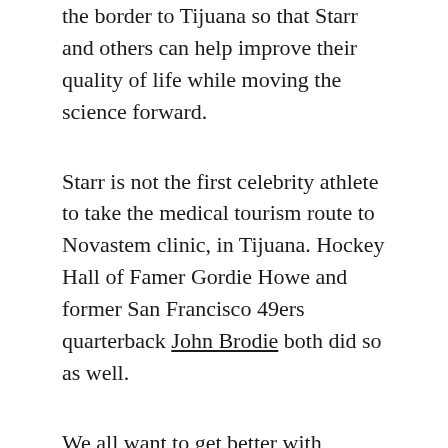the border to Tijuana so that Starr and others can help improve their quality of life while moving the science forward.
Starr is not the first celebrity athlete to take the medical tourism route to Novastem clinic, in Tijuana. Hockey Hall of Famer Gordie Howe and former San Francisco 49ers quarterback John Brodie both did so as well.
We all want to get better with whatever ails us … hope is a very powerful generator of human motivation, said Dr. Larry Goldstein, who directs the stem cell center at the University of California — San Diego.